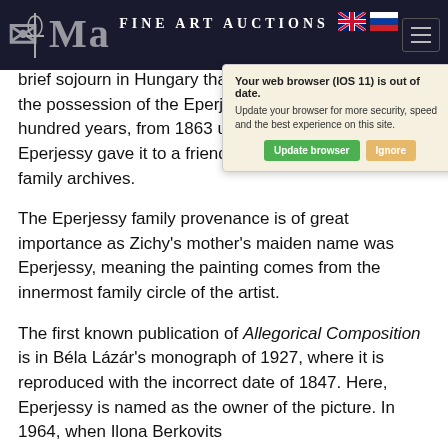Fine Art Auctions
[Figure (screenshot): Browser warning popup: 'Your web browser (iOS 11) is out of date. Update your browser for more security, speed and the best experience on this site.' with Update browser and Ignore buttons.]
brief sojourn in Hungary that year. The painting was in the possession of the Eperjessy family for almost a hundred years, from 1863 until 1959, when Sándor Eperjessy gave it to a friend, as documented in the family archives.
The Eperjessy family provenance is of great importance as Zichy's mother's maiden name was Eperjessy, meaning the painting comes from the innermost family circle of the artist.
The first known publication of Allegorical Composition is in Béla Lázár's monograph of 1927, where it is reproduced with the incorrect date of 1847. Here, Eperjessy is named as the owner of the picture. In 1964, when Ilona Berkovits